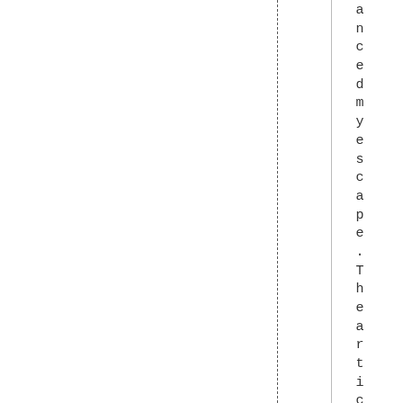anceandmyescape.Thearticlehasafe